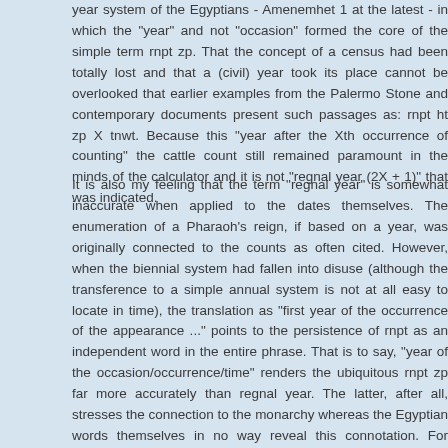year system of the Egyptians - Amenemhet 1 at the latest - in which the "year" and not "occasion" formed the core of the simple term rnpt zp. That the concept of a census had been totally lost and that a (civil) year took its place cannot be overlooked that earlier examples from the Palermo Stone and contemporary documents present such passages as: rnpt ht zp X tnwt. Because this "year after the Xth occurrence of counting" the cattle count still remained paramount in the minds of the calculator and it is not "regnal year (2X + 1)" that was indicated.
It is also my feeling that the term "regnal year" is somewhat inaccurate when applied to the dates themselves. The enumeration of a Pharaoh's reign, if based on a year, was originally connected to the counts as often cited. However, when the biennial system had fallen into disuse (although the transference to a simple annual system is not at all easy to locate in time), the translation as "first year of the occurrence of the appearance ..." points to the persistence of rnpt as an independent word in the entire phrase. That is to say, "year of the occasion/occurrence/time" renders the ubiquitous rnpt zp far more accurately than regnal year. The latter, after all, stresses the connection to the monarchy whereas the Egyptian words themselves in no way reveal this connotation. For example, it is often claimed that these "regnal years" were signs of royalty and therefore that the separate nomarchal dating in the early Middle Kingdom (e.g., at Beni Hasan) indicates some degree of usurpation of royal privilege. Whereas the employment of separate dates by these nomarchs shows heightened private (non-royal) status, let us keep in mind that the two words "regnal year" overtly convey Pharaonic status. A simple "1st year of the appearance" is a better translation as it avoids such